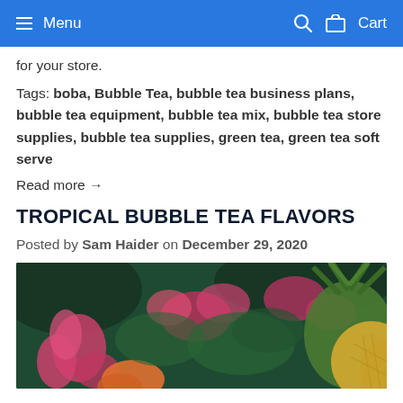Menu  Cart
for your store.
Tags: boba, Bubble Tea, bubble tea business plans, bubble tea equipment, bubble tea mix, bubble tea store supplies, bubble tea supplies, green tea, green tea soft serve
Read more →
TROPICAL BUBBLE TEA FLAVORS
Posted by Sam Haider on December 29, 2020
[Figure (photo): Tropical flowers and pineapple arrangement on dark green background]